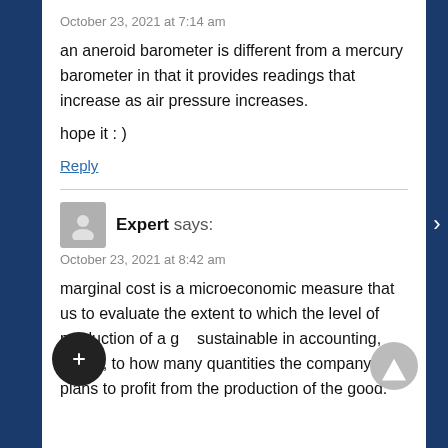October 23, 2021 at 7:14 am
an aneroid barometer is different from a mercury barometer in that it provides readings that increase as air pressure increases.
hope it : )
Reply
Expert says:
October 23, 2021 at 8:42 am
marginal cost is a microeconomic measure that us to evaluate the extent to which the level of production of a good is sustainable in accounting, that is, to how many quantities the company plans to profit from the production of the good.